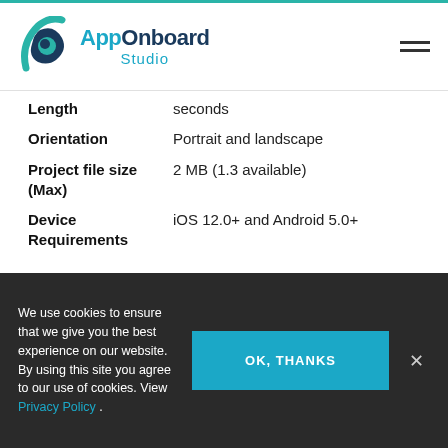AppOnboard Studio
| Property | Value |
| --- | --- |
| Length | seconds |
| Orientation | Portrait and landscape |
| Project file size (Max) | 2 MB (1.3 available) |
| Device Requirements | iOS 12.0+ and Android 5.0+ |
Unity
Subscription: Publishing for Unity is an Enterprise
We use cookies to ensure that we give you the best experience on our website. By using this site you agree to our use of cookies. View Privacy Policy .